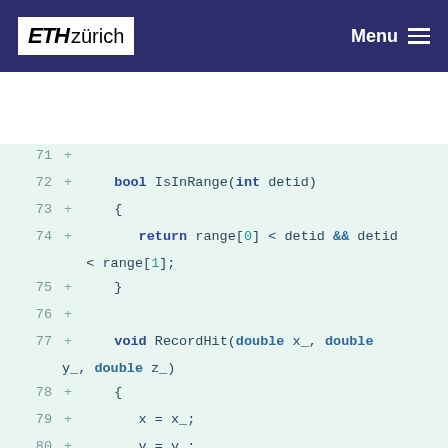ETH zürich  Menu
[Figure (screenshot): Code diff view showing C++ class methods: IsInRange, RecordHit, and Reset, lines 71-88, with green added lines background and line numbers, plus signs indicating additions.]